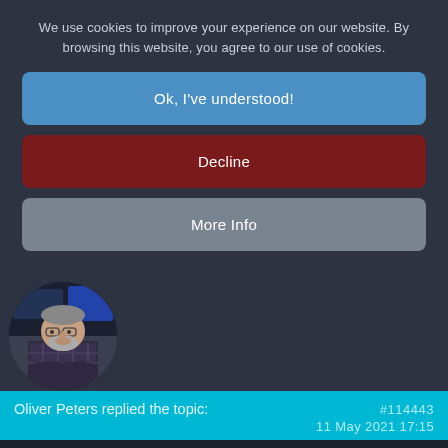We use cookies to improve your experience on our website. By browsing this website, you agree to our use of cookies.
Ok, I've understood!
Decline
More Info
[Figure (photo): Circular avatar photo of a middle-aged man with glasses, gray beard, wearing a plaid shirt, seated in front of computer screens]
Oliver Peters replied the topic:	#114443
11 May 2021 17:15
FYI - CFT was updated to 1.1 today with a number of new features, including scopes and